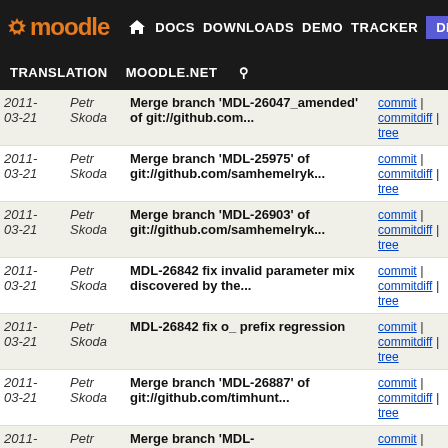Moodle navigation: DOCS | DOWNLOADS | DEMO | TRACKER | DEV | TRANSLATION | MOODLE.NET
| Date | Author | Commit message | Links |
| --- | --- | --- | --- |
| 2011-03-21 | Petr Skoda | Merge branch 'MDL-26047_amended' of git://github.com... | commit | commitdiff | tree |
| 2011-03-21 | Petr Skoda | Merge branch 'MDL-25975' of git://github.com/samhemelryk... | commit | commitdiff | tree |
| 2011-03-21 | Petr Skoda | Merge branch 'MDL-26903' of git://github.com/samhemelryk... | commit | commitdiff | tree |
| 2011-03-21 | Petr Skoda | MDL-26842 fix invalid parameter mix discovered by the... | commit | commitdiff | tree |
| 2011-03-21 | Petr Skoda | MDL-26842 fix o_ prefix regression | commit | commitdiff | tree |
| 2011-03-21 | Petr Skoda | Merge branch 'MDL-26887' of git://github.com/timhunt... | commit | commitdiff | tree |
| 2011-03-21 | Petr Skoda | Merge branch 'MDL-26571_lesson_scale' of git://github... | commit | commitdiff | tree |
| 2011-03-21 | Petr Skoda | Merge branch 'MDL-26768_0_grade' of git://github.com... | commit | commitdiff | tree |
| 2011-03-21 | Petr Skoda | Merge branch 's8_MDL-26919_search_dialog_event' of... | commit | commitdiff | tree |
| 2011-03-21 | Petr Skoda | Merge branch 'wip-MDL-26822' | commit | commitdiff | tree |